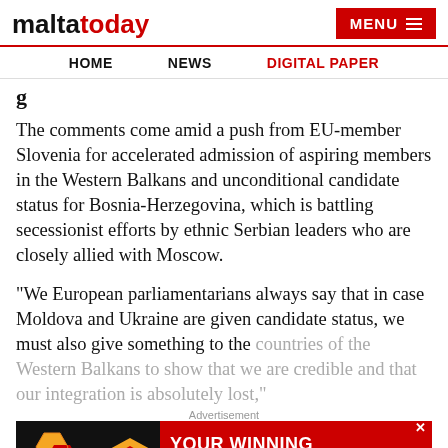maltatoday | MENU
HOME | NEWS | DIGITAL PAPER
g
The comments come amid a push from EU-member Slovenia for accelerated admission of aspiring members in the Western Balkans and unconditional candidate status for Bosnia-Herzegovina, which is battling secessionist efforts by ethnic Serbian leaders who are closely allied with Moscow.
“We European parliamentarians always say that in case Moldova and Ukraine are given candidate status, we must also give something to the countries of the Western Balkans to show that we are credible and that our integration is absolutely lost,"
[Figure (other): SOFTSWISS advertisement banner: YOUR WINNING COMBINATION IN iGAMING]